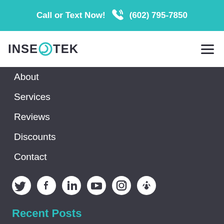Call or Text Now! (602) 795-7850
[Figure (logo): Insecotek logo with teal circular arrow icon and dark text]
About
Services
Reviews
Discounts
Contact
[Figure (infographic): Social media icons row: Twitter, Facebook, LinkedIn, YouTube, Instagram, Yelp]
Recent Posts